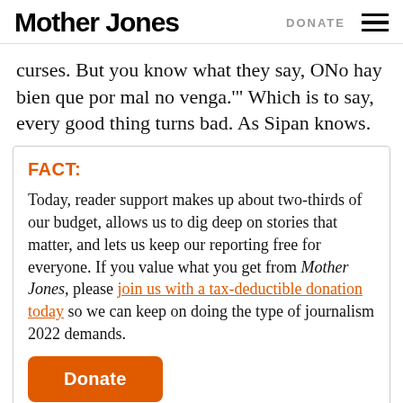Mother Jones | DONATE
curses. But you know what they say, ONo hay bien que por mal no venga.'" Which is to say, every good thing turns bad. As Sipan knows.
FACT:
Today, reader support makes up about two-thirds of our budget, allows us to dig deep on stories that matter, and lets us keep our reporting free for everyone. If you value what you get from Mother Jones, please join us with a tax-deductible donation today so we can keep on doing the type of journalism 2022 demands.
Donate